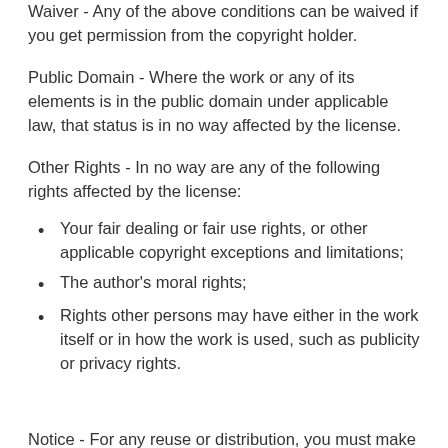Waiver - Any of the above conditions can be waived if you get permission from the copyright holder.
Public Domain - Where the work or any of its elements is in the public domain under applicable law, that status is in no way affected by the license.
Other Rights - In no way are any of the following rights affected by the license:
Your fair dealing or fair use rights, or other applicable copyright exceptions and limitations;
The author's moral rights;
Rights other persons may have either in the work itself or in how the work is used, such as publicity or privacy rights.
Notice - For any reuse or distribution, you must make clear to others the license terms of this